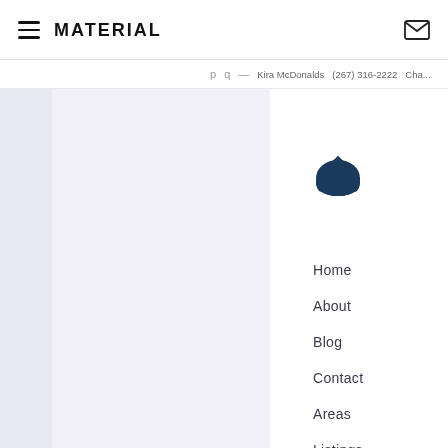MATERIAL
Home
About
Blog
Contact
Areas
Listings
[Figure (screenshot): Real estate website screenshot showing navigation menu with Home, About, Blog, Contact, Areas, Listings links, a dark blue house icon, and a partially visible brick-textured hero section on the right with text starting with Let's and body text about Your #1 source...]
Let's
Your #1 s... Check ou... homes av... blog post... much mo...